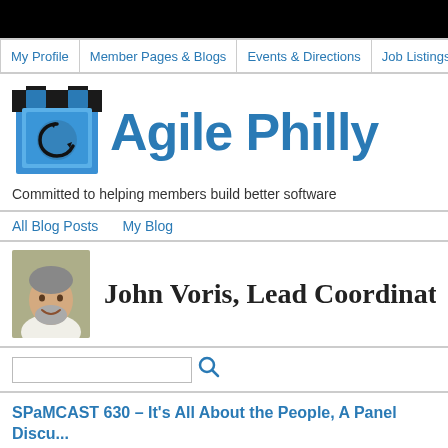My Profile | Member Pages & Blogs | Events & Directions | Job Listings
[Figure (logo): Agile Philly logo with stylized T/refresh icon and 'Agile Philly' text in blue]
Committed to helping members build better software
All Blog Posts   My Blog
John Voris, Lead Coordinator's Bl
SPaMCAST 630 – It's All About the People, A Panel Discu... Laberge, Parente, Voris, Sweeney, and Cagley